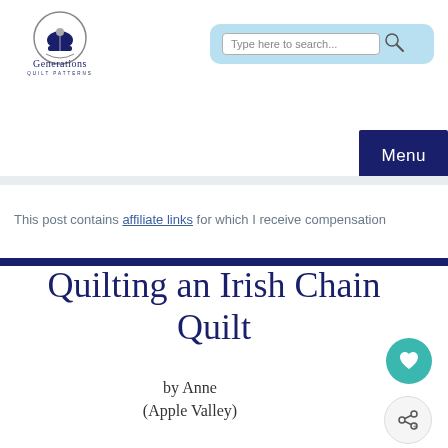[Figure (logo): Generations Quilt Patterns logo with sewing machine in circle and text below]
[Figure (screenshot): Search bar with text 'Type here to search...' on light blue background]
[Figure (other): Dark navy Menu button in top right]
This post contains affiliate links for which I receive compensation
Quilting an Irish Chain Quilt
by Anne
(Apple Valley)